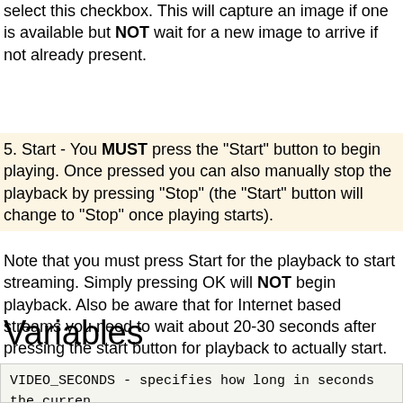select this checkbox. This will capture an image if one is available but NOT wait for a new image to arrive if not already present.
5. Start - You MUST press the "Start" button to begin playing. Once pressed you can also manually stop the playback by pressing "Stop" (the "Start" button will change to "Stop" once playing starts).
Note that you must press Start for the playback to start streaming. Simply pressing OK will NOT begin playback. Also be aware that for Internet based streams you need to wait about 20-30 seconds after pressing the start button for playback to actually start.
Variables
VIDEO_SECONDS - specifies how long in seconds the curren
VIDEO_TIME - specifies how long the current stream has b